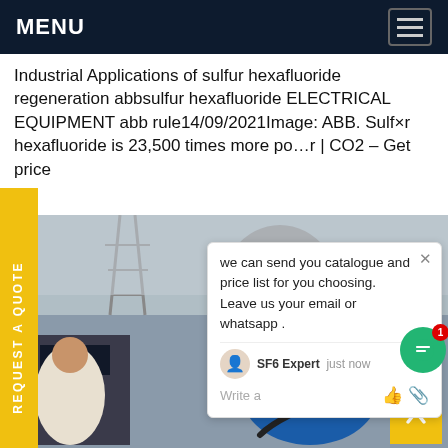MENU
Industrial Applications of sulfur hexafluoride regeneration abbsulfur hexafluoride ELECTRICAL EQUIPMENT abb rule14/09/2021Image: ABB. Sulfur hexafluoride is 23,500 times more powerful than CO2 – Get price
[Figure (photo): A worker in a blue hard hat and blue uniform uses a specialized valve/coupling tool on large industrial electrical equipment outdoors. A power transmission tower is visible in the background.]
we can send you catalogue and price list for you choosing.
Leave us your email or whatsapp .
SF6 Expert   just now
Write a
REQUEST A QUOTE